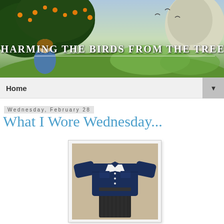[Figure (illustration): Blog header banner with illustrated scene of a child sitting under a fruit tree in a pastoral landscape, with text 'CHARMING THE BIRDS FROM THE TREES' and underline]
Home ▼
Wednesday, February 28
What I Wore Wednesday...
[Figure (photo): Flat lay outfit photo showing a dark denim jacket over a white top and a dark skirt, laid out on a beige/tan surface]